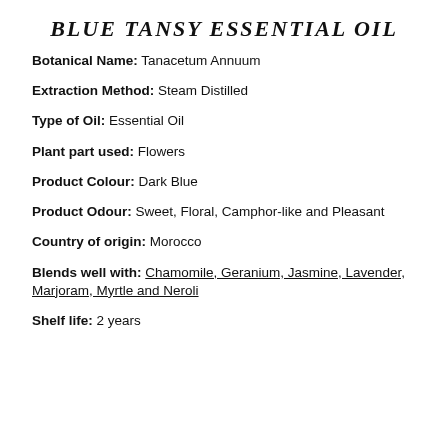BLUE TANSY ESSENTIAL OIL
Botanical Name: Tanacetum Annuum
Extraction Method: Steam Distilled
Type of Oil: Essential Oil
Plant part used: Flowers
Product Colour: Dark Blue
Product Odour: Sweet, Floral, Camphor-like and Pleasant
Country of origin: Morocco
Blends well with: Chamomile, Geranium, Jasmine, Lavender, Marjoram, Myrtle and Neroli
Shelf life: 2 years